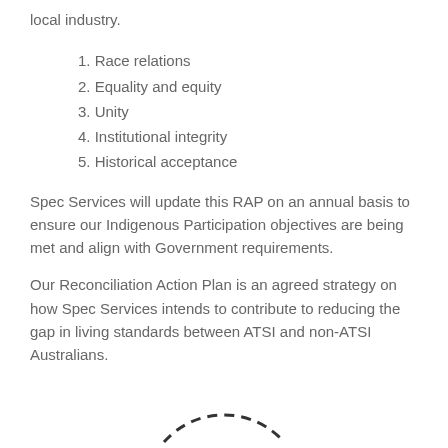local industry.
1. Race relations
2. Equality and equity
3. Unity
4. Institutional integrity
5. Historical acceptance
Spec Services will update this RAP on an annual basis to ensure our Indigenous Participation objectives are being met and align with Government requirements.
Our Reconciliation Action Plan is an agreed strategy on how Spec Services intends to contribute to reducing the gap in living standards between ATSI and non-ATSI Australians.
[Figure (illustration): Partial dashed circle arc visible at the bottom center of the page]